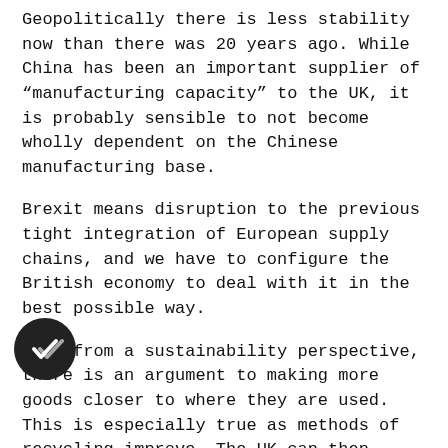Geopolitically there is less stability now than there was 20 years ago. While China has been an important supplier of “manufacturing capacity” to the UK, it is probably sensible to not become wholly dependent on the Chinese manufacturing base.
Brexit means disruption to the previous tight integration of European supply chains, and we have to configure the British economy to deal with it in the best possible way.
And, from a sustainability perspective, there is an argument to making more goods closer to where they are used. This is especially true as methods of recycling improve. The UK can then recycle and reuse goods without having to transport them to far corners of the world.
Whichever way you look at it, there are good reasons to invest in improving the British manufacturing base. However, we won’t solve that problem by just “bringing things back from China” – nor do we want to.
The way to make things today is not the same way we made